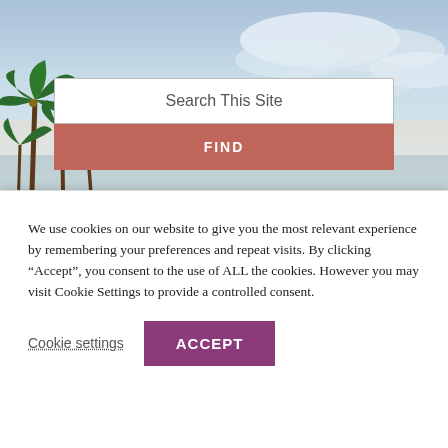[Figure (photo): Beach scene with palm trees on the left, ocean/water in the background, sandy beach, and cloudy sky. Used as hero background image.]
Search This Site
FIND
SAY ALOHA!
TASK FORCE HAWAII!
GET NEWS!
Upcoming Books
Write to Mel?
FAQ
We use cookies on our website to give you the most relevant experience by remembering your preferences and repeat visits. By clicking “Accept”, you consent to the use of ALL the cookies. However you may visit Cookie Settings to provide a controlled consent.
Cookie settings
ACCEPT